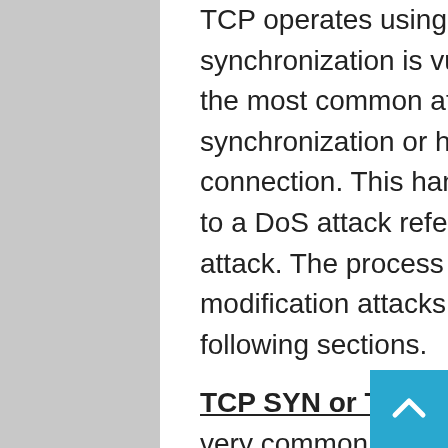TCP operates using synchronized connections. The synchronization is vulnerable to attack; this is probably the most common attack used today. The synchronization or handshake, process initiates a TCP connection. This handshake is particularly vulnerable to a DoS attack referred to as the TCP SYN Flood attack. The process is also susceptible to access and modification attacks, which are briefly explained in the following sections.
TCP SYN or TCP ACK Flood Attack - This attack is very common... The purpose of this attack is to deny service. The attack begins as a normal TCP connection: the client and the server exchange information in TCP packets. The TCP client continues to send ACK packets to the server, these ACK packets tells the server that a connection is requested. The server thus responds to the client with a ACK packet, the client is supposed to respond with another packet accepting the connection to establish the session. In this attack the client continually send and receives the ACK packets but it does not open the session. The server holds these sessions open, awaiting the final packet in the